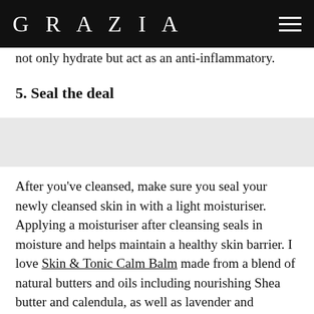GRAZIA
not only hydrate but act as an anti-inflammatory.
5. Seal the deal
[Figure (photo): Light grey image placeholder area showing a product image]
After you've cleansed, make sure you seal your newly cleansed skin in with a light moisturiser. Applying a moisturiser after cleansing seals in moisture and helps maintain a healthy skin barrier. I love Skin & Tonic Calm Balm made from a blend of natural butters and oils including nourishing Shea butter and calendula, as well as lavender and chamomile, great for calming